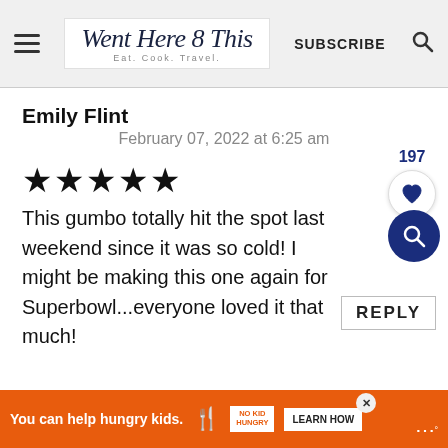Went Here 8 This — Eat. Cook. Travel. | SUBSCRIBE
Emily Flint
February 07, 2022 at 6:25 am
★★★★★
This gumbo totally hit the spot last weekend since it was so cold! I might be making this one again for Superbowl...everyone loved it that much!
REPLY
You can help hungry kids. | NO KID HUNGRY | LEARN HOW